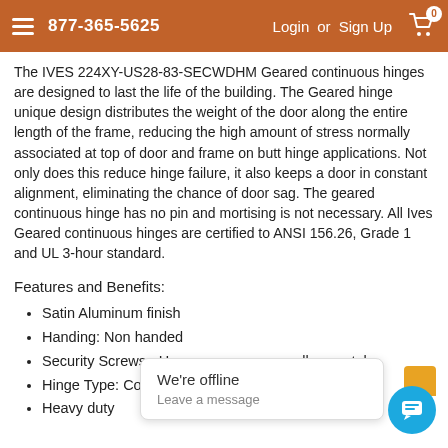877-365-5625   Login or Sign Up
The IVES 224XY-US28-83-SECWDHM Geared continuous hinges are designed to last the life of the building. The Geared hinge unique design distributes the weight of the door along the entire length of the frame, reducing the high amount of stress normally associated at top of door and frame on butt hinge applications. Not only does this reduce hinge failure, it also keeps a door in constant alignment, eliminating the chance of door sag. The geared continuous hinge has no pin and mortising is not necessary. All Ives Geared continuous hinges are certified to ANSI 156.26, Grade 1 and UL 3-hour standard.
Features and Benefits:
Satin Aluminum finish
Handing: Non handed
Security Screws - H... ...ollow metal
Hinge Type: Conti...
Heavy duty